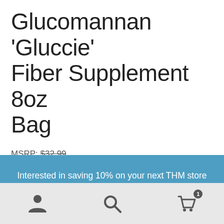Glucomannan 'Gluccie' Fiber Supplement 8oz Bag
MSRP: $32.99
Interested in saving 10% on your next THM store purchase? Join TrimHealthyMembership.com TODAY. Current members receive a 10% discount on eligible purchases. Already a member? Log In to enjoy your discount now.